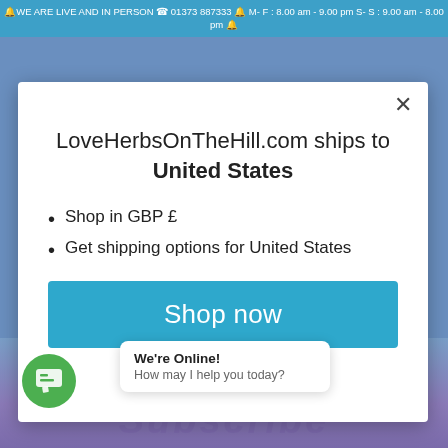WE ARE LIVE AND IN PERSON ☎ 01373 887333 · M-F : 8.00 am - 9.00 pm S-S : 9.00 am - 8.00 pm
LoveHerbsOnTheHill.com ships to United States
Shop in GBP £
Get shipping options for United States
Shop now
Change shipping country
We're Online! How may I help you today?